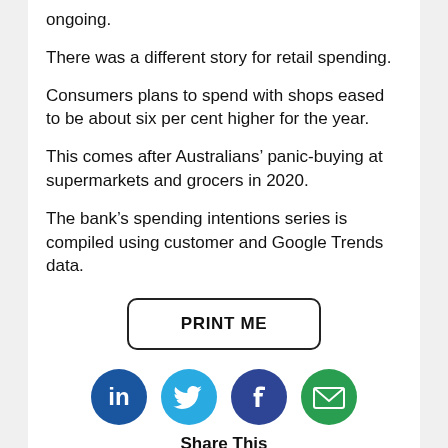ongoing.
There was a different story for retail spending.
Consumers plans to spend with shops eased to be about six per cent higher for the year.
This comes after Australians’ panic-buying at supermarkets and grocers in 2020.
The bank’s spending intentions series is compiled using customer and Google Trends data.
[Figure (other): PRINT ME button with rounded rectangle border]
[Figure (other): Social share icons: LinkedIn (blue circle with 'in'), Twitter (light blue circle with bird), Facebook (dark blue circle with 'f'), Email (green circle with envelope). Below icons: 'Share This' label. Below that: heart icon and '0' like count.]